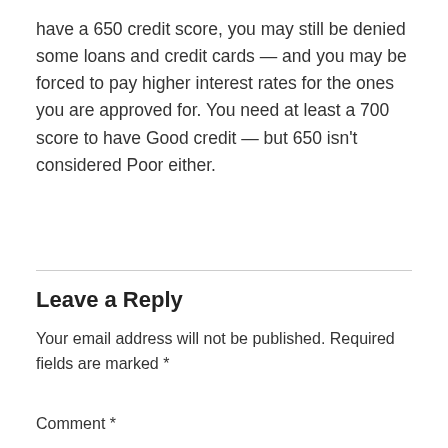have a 650 credit score, you may still be denied some loans and credit cards — and you may be forced to pay higher interest rates for the ones you are approved for. You need at least a 700 score to have Good credit — but 650 isn't considered Poor either.
Leave a Reply
Your email address will not be published. Required fields are marked *
Comment *